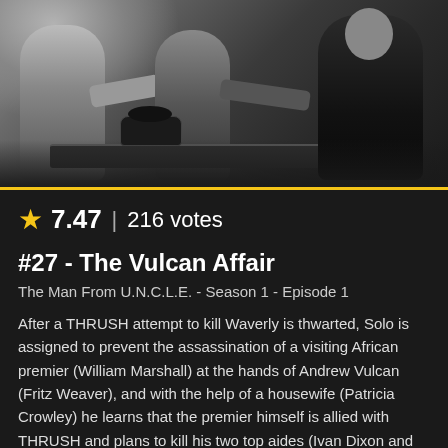[Figure (photo): Black and white still from The Man From U.N.C.L.E. showing figures appearing to struggle or interact around a table with a telephone visible]
★ 7.47 | 216 votes
#27 - The Vulcan Affair
The Man From U.N.C.L.E. - Season 1 - Episode 1
After a THRUSH attempt to kill Waverly is thwarted, Solo is assigned to prevent the assassination of a visiting African premier (William Marshall) at the hands of Andrew Vulcan (Fritz Weaver), and with the help of a housewife (Patricia Crowley) he learns that the premier himself is allied with THRUSH and plans to kill his two top aides (Ivan Dixon and Rupert Crosse) in a fake accident.